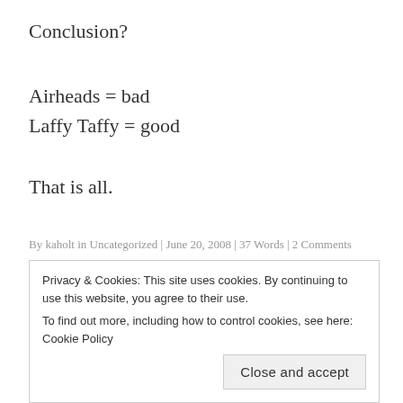Conclusion?
Airheads = bad
Laffy Taffy = good
That is all.
By kaholt in Uncategorized | June 20, 2008 | 37 Words | 2 Comments
look at me
Privacy & Cookies: This site uses cookies. By continuing to use this website, you agree to their use.
To find out more, including how to control cookies, see here: Cookie Policy
Close and accept